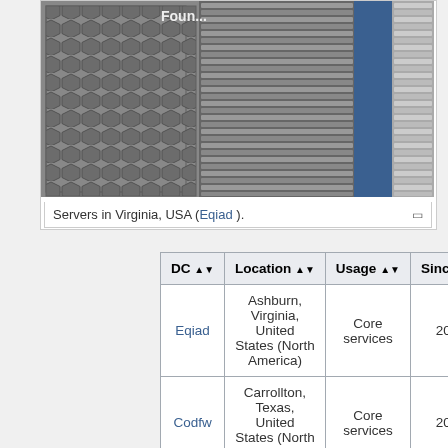[Figure (photo): Server racks in a data center, showing dense blade servers with metallic honeycomb fronts and a blue vertical panel]
Servers in Virginia, USA (Eqiad ).
| DC | Location | Usage | Since |
| --- | --- | --- | --- |
| Eqiad | Ashburn, Virginia, United States (North America) | Core services | 2010 |
| Codfw | Carrollton, Texas, United States (North America) | Core services | 2014 |